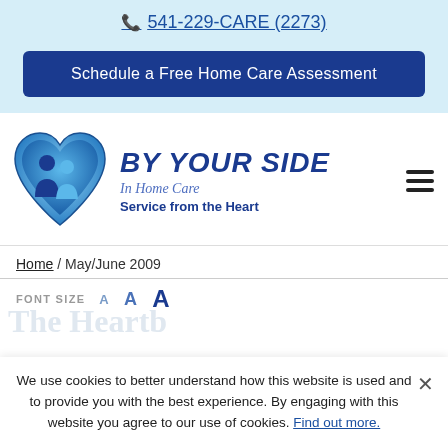📞 541-229-CARE (2273)
Schedule a Free Home Care Assessment
[Figure (logo): By Your Side In Home Care logo: blue heart shape with two person silhouettes inside, beside the text BY YOUR SIDE In Home Care Service from the Heart]
Home / May/June 2009
FONT SIZE   A  A  A
We use cookies to better understand how this website is used and to provide you with the best experience. By engaging with this website you agree to our use of cookies. Find out more.